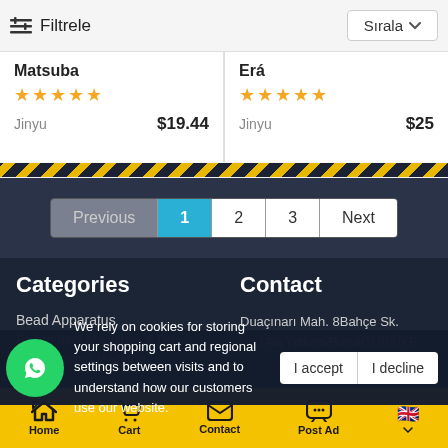Filtrele | Sırala
Matsuba — ★★★★★ — Jinyu — $19.44
Erá — ★★★★★ — Jinyu — $25
Previous | 1 | 2 | 3 | Next
Categories
Contact
Bead Apparatus
Duaçınarı Mah. 8Bahçe Sk.
No:14/a Yıldırım/Bursa/TURKİYE
We rely on cookies for storing your shopping cart and regional settings between visits and to understand how our customers use our website.
I accept | I decline
Home | Cart | Contact | Post Ad